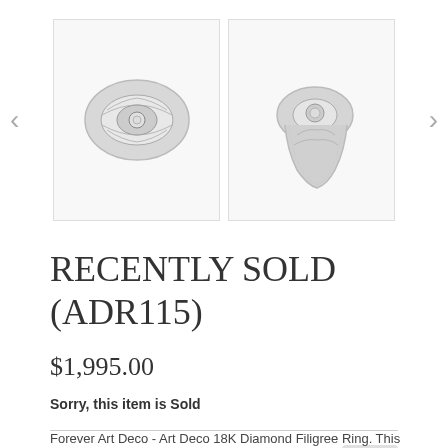[Figure (photo): Two product images of an Art Deco 18K Diamond Filigree Ring shown side by side in a carousel. Left image shows top-down view of the ring with ornate filigree setting. Right image shows a side angle view of the same ring. Navigation arrows on left and right sides.]
RECENTLY SOLD (ADR115)
$1,995.00
Sorry, this item is Sold
SHARE:
Forever Art Deco - Art Deco 18K Diamond Filigree Ring. This